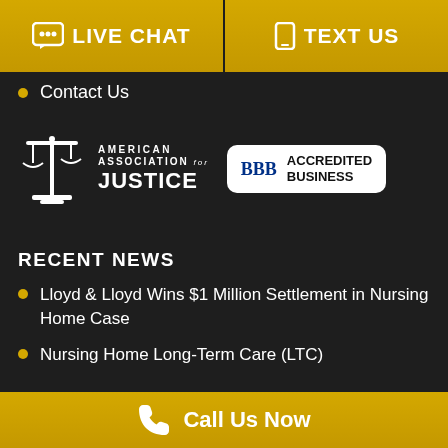[Figure (infographic): Live Chat and Text Us buttons in gold/yellow gradient]
Contact Us
[Figure (logo): American Association for Justice logo (scales of justice icon with text) and BBB Accredited Business badge]
RECENT NEWS
Lloyd & Lloyd Wins $1 Million Settlement in Nursing Home Case
Nursing Home Long-Term Care (LTC)
[Figure (infographic): Call Us Now gold button bar at bottom of page]